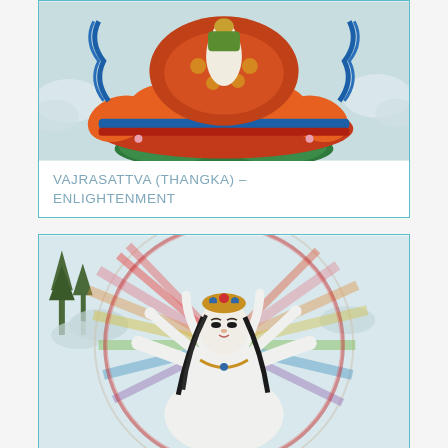[Figure (illustration): Thangka painting of Vajrasattva deity in union, seated on a lotus throne with orange and red petals, decorated with colorful blue, red, orange and green ornaments, clouds in background, cropped view showing lower half of the image.]
VAJRASATTVA (THANGKA) – ENLIGHTENMENT
[Figure (illustration): Thangka painting of a white-skinned deity (possibly Tara) with a crown, flowing black hair, seated or standing with multiple arms radiating outward like a peacock fan in rainbow colors (red, green, yellow, blue, pink), large circular halo behind, trees visible in distant background.]